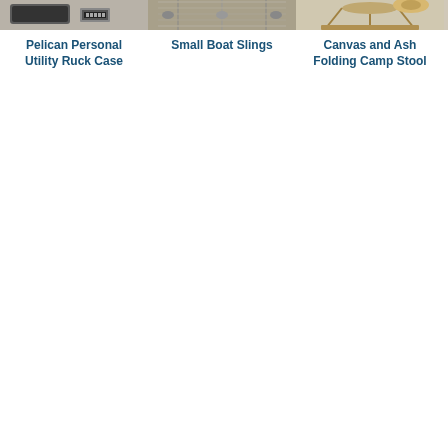[Figure (photo): Product image for Pelican Personal Utility Ruck Case - partially cropped at top]
Pelican Personal Utility Ruck Case
[Figure (photo): Product image for Small Boat Slings - photo of slings hanging outdoors]
Small Boat Slings
[Figure (photo): Product image for Canvas and Ash Folding Camp Stool - partially visible]
Canvas and Ash Folding Camp Stool